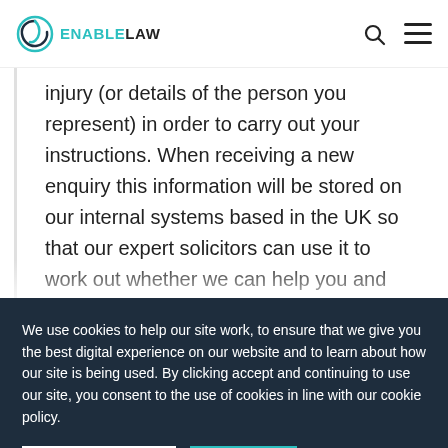Enable Law — navigation header with logo, search icon, and menu icon
injury (or details of the person you represent) in order to carry out your instructions. When receiving a new enquiry this information will be stored on our internal systems based in the UK so that our expert solicitors can use it to work out whether we can help you and discuss
We use cookies to help our site work, to ensure that we give you the best digital experience on our website and to learn about how our site is being used. By clicking accept and continuing to use our site, you consent to the use of cookies in line with our cookie policy.